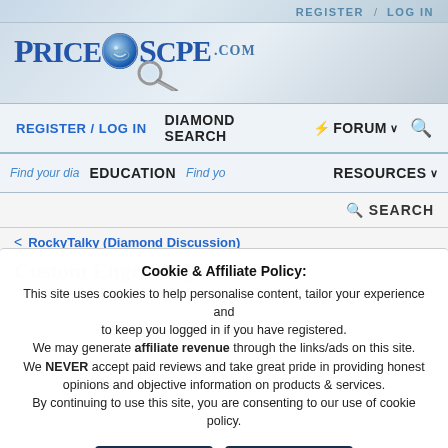REGISTER / LOG IN
[Figure (logo): PriceScope.com logo with magnifying glass globe icon]
REGISTER / LOG IN   DIAMOND SEARCH   FORUM   EDUCATION   RESOURCES   SEARCH
Find your dia... EDUCATION Find yo... RESOURCES
SEARCH
< RockyTalky (Diamond Discussion)
Custom Engraving
Cookie & Affiliate Policy:
This site uses cookies to help personalise content, tailor your experience and to keep you logged in if you have registered.
We may generate affiliate revenue through the links/ads on this site.
We NEVER accept paid reviews and take great pride in providing honest opinions and objective information on products & services.
By continuing to use this site, you are consenting to our use of cookie policy.
Accept   Learn more...